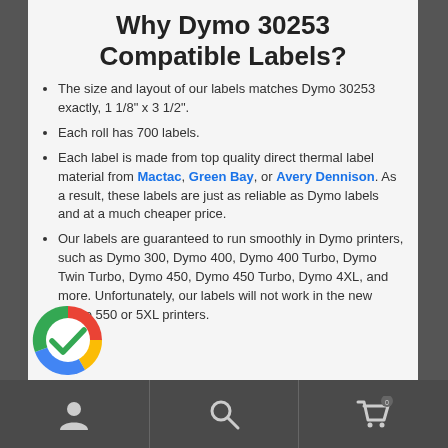Why Dymo 30253 Compatible Labels?
The size and layout of our labels matches Dymo 30253 exactly, 1 1/8" x 3 1/2".
Each roll has 700 labels.
Each label is made from top quality direct thermal label material from Mactac, Green Bay, or Avery Dennison. As a result, these labels are just as reliable as Dymo labels and at a much cheaper price.
Our labels are guaranteed to run smoothly in Dymo printers, such as Dymo 300, Dymo 400, Dymo 400 Turbo, Dymo Twin Turbo, Dymo 450, Dymo 450 Turbo, Dymo 4XL, and more. Unfortunately, our labels will not work in the new Dymo 550 or 5XL printers.
[Figure (logo): Google-colored checkmark logo circle]